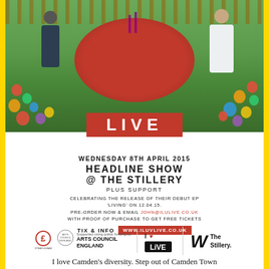[Figure (photo): Outdoor garden party scene with two people sitting at a round table with red tablecloth, colourful balloons on the ground, candles on table, wooden fence in background]
LIVE
WEDNESDAY 8TH APRIL 2015
HEADLINE SHOW
@ THE STILLERY
PLUS SUPPORT
CELEBRATING THE RELEASE OF THEIR DEBUT EP 'LIVING' ON 12.04.15. PRE-ORDER NOW & EMAIL JOHN@ILULIVE.CO.UK WITH PROOF OF PURCHASE TO GET FREE TICKETS
TIX & INFO WWW.ILUVLIVE.CO.UK
[Figure (logo): Logos: Arts Council England (Lottery Funded), I LUV LIVE, The Stillery]
I love Camden's diversity. Step out of Camden Town